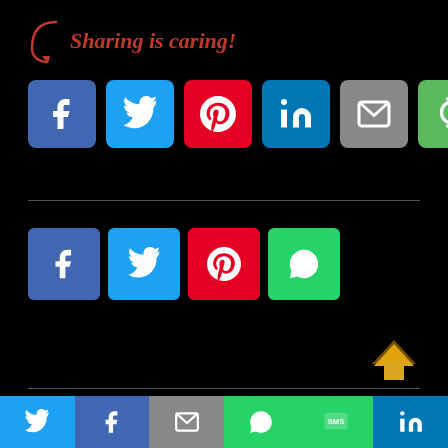Sharing is caring!
[Figure (infographic): Row of social share buttons: Facebook (blue), Twitter (cyan), Pinterest (red), LinkedIn (blue), Email (grey), Recycle/Share (green)]
[Figure (infographic): Row of small social share buttons: Facebook (blue), Twitter (cyan), Pinterest (red), WhatsApp (green)]
Previous article
Colombia reports 7,139 new COVID-19 cases
Next article
Drugs worth Rs 12 Crore smuggled from Myanmar and seized in Mizoram
Twitter | Facebook | Email | WhatsApp | SMS | LinkedIn